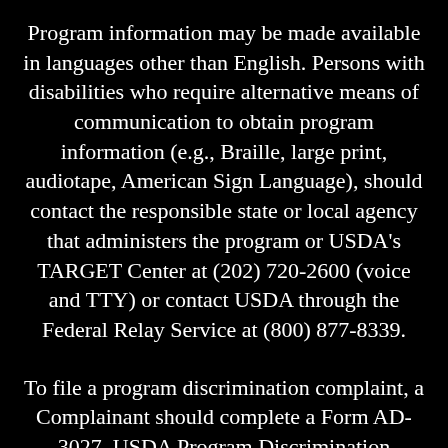Program information may be made available in languages other than English. Persons with disabilities who require alternative means of communication to obtain program information (e.g., Braille, large print, audiotape, American Sign Language), should contact the responsible state or local agency that administers the program or USDA's TARGET Center at (202) 720-2600 (voice and TTY) or contact USDA through the Federal Relay Service at (800) 877-8339.
To file a program discrimination complaint, a Complainant should complete a Form AD-3027, USDA Program Discrimination Complaint Form which can be obtained